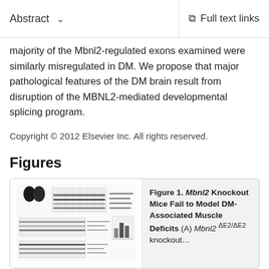Abstract   Full text links
majority of the Mbnl2-regulated exons examined were similarly misregulated in DM. We propose that major pathological features of the DM brain result from disruption of the MBNL2-mediated developmental splicing program.
Copyright © 2012 Elsevier Inc. All rights reserved.
Figures
[Figure (photo): Thumbnail of Figure 1 showing gel electrophoresis bands and bar charts from Mbnl2 knockout mouse study]
Figure 1. Mbnl2 Knockout Mice Fail to Model DM-Associated Muscle Deficits (A) Mbnl2 ΔE2/ΔE2 knockout…